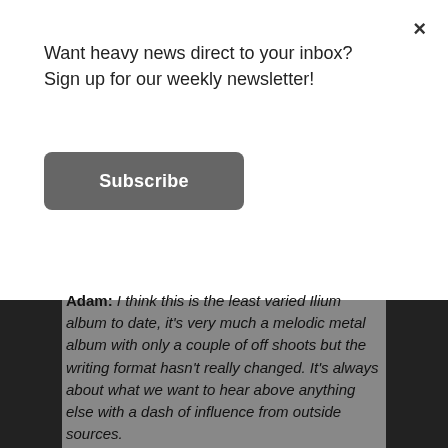Want heavy news direct to your inbox?Sign up for our weekly newsletter!
Subscribe
Adam: I think this is the least varied Ilium album to date, it's very much a melodic metal album with only a couple of off shoots but the writing format hasn't really changed. It's always about what we want to hear above anything else with a dash of influence from outside sources.
Jason: We let the process be organic.  Really, Lord Tim has become a world class producer and production is a major factor, as is his vocal